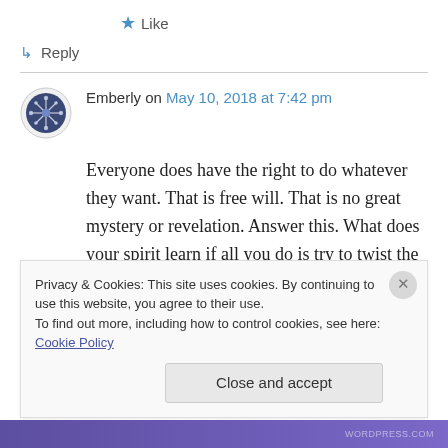★ Like
↳ Reply
Emberly on May 10, 2018 at 7:42 pm
Everyone does have the right to do whatever they want. That is free will. That is no great mystery or revelation. Answer this. What does your spirit learn if all you do is try to twist the world to your will? Nothing. You become a
Privacy & Cookies: This site uses cookies. By continuing to use this website, you agree to their use.
To find out more, including how to control cookies, see here: Cookie Policy
Close and accept